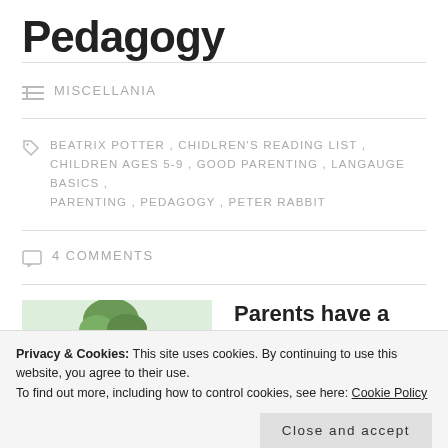Pedagogy
MISCELLANIA
BEATRIX POTTER, CHIDLREN'S READING LIST, CHILDREN AGES 5-9, GOOD PARENTING, LANGAUGE BASICS, PARENTING, PEDAGOGY, PETER RABBIT
4 COMMENTS
[Figure (illustration): Partial illustration showing what appears to be a Beatrix Potter scene with animals and garden setting]
Parents have a
Privacy & Cookies: This site uses cookies. By continuing to use this website, you agree to their use. To find out more, including how to control cookies, see here: Cookie Policy
Close and accept